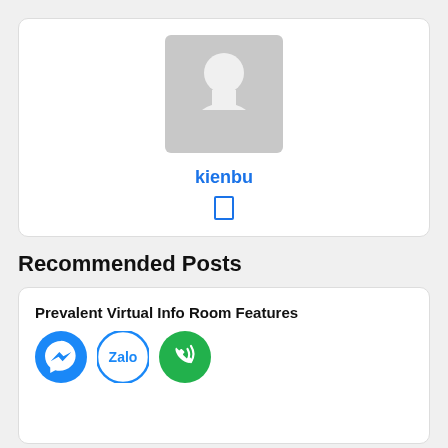[Figure (illustration): User profile card with a gray placeholder avatar image, username 'kienbu' in blue bold text, and a small rectangle icon below the name]
Recommended Posts
Prevalent Virtual Info Room Features
[Figure (illustration): Three social media icons: Facebook Messenger (blue circle with white lightning bolt), Zalo (blue circle with white 'Zalo' text), and a green circle with white phone/signal icon]
[Figure (illustration): Bottom white card, partially visible]